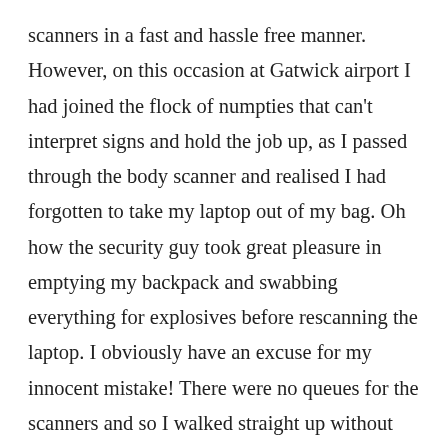scanners in a fast and hassle free manner. However, on this occasion at Gatwick airport I had joined the flock of numpties that can't interpret signs and hold the job up, as I passed through the body scanner and realised I had forgotten to take my laptop out of my bag. Oh how the security guy took great pleasure in emptying my backpack and swabbing everything for explosives before rescanning the laptop. I obviously have an excuse for my innocent mistake! There were no queues for the scanners and so I walked straight up without having time to think what I had to do. I also glanced at a notice that told passengers to put their smart phones in their bags and so I automatically shoved everything in my backpack which over-rode the memory to remove my laptop. Also, flying from Saudi direct to London at